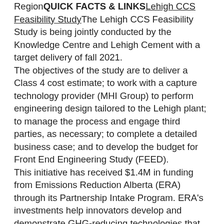Region QUICK FACTS & LINKS Lehigh CCS Feasibility Study The Lehigh CCS Feasibility Study is being jointly conducted by the Knowledge Centre and Lehigh Cement with a target delivery of fall 2021. The objectives of the study are to deliver a Class 4 cost estimate; to work with a capture technology provider (MHI Group) to perform engineering design tailored to the Lehigh plant; to manage the process and engage third parties, as necessary; to complete a detailed business case; and to develop the budget for Front End Engineering Study (FEED). This initiative has received $1.4M in funding from Emissions Reduction Alberta (ERA) through its Partnership Intake Program. ERA's investments help innovators develop and demonstrate GHG-reducing technologies that lower costs, improve competitiveness and accelerate Alberta's transformation to a low carbon economy. Cement Emission Overview Concrete, a